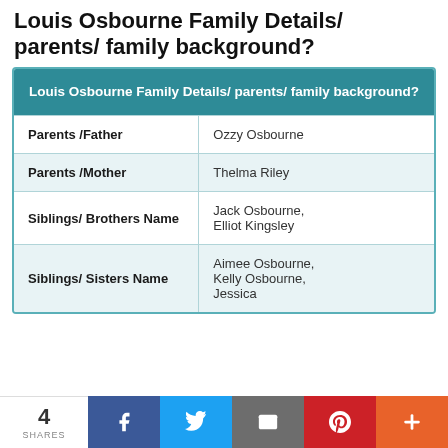Louis Osbourne Family Details/ parents/ family background?
| Louis Osbourne Family Details/ parents/ family background? |
| --- |
| Parents /Father | Ozzy Osbourne |
| Parents /Mother | Thelma Riley |
| Siblings/ Brothers Name | Jack Osbourne, Elliot Kingsley |
| Siblings/ Sisters Name | Aimee Osbourne, Kelly Osbourne, Jessica |
4 SHARES | Facebook | Twitter | Email | Pinterest | More